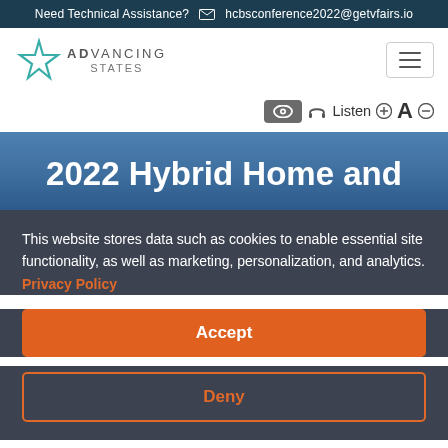Need Technical Assistance? ✉ hcbsconference2022@getvfairs.io
[Figure (logo): ADvancing States logo with teal star icon]
[Figure (other): Hamburger menu button (three horizontal lines)]
[Figure (other): Accessibility toolbar: eye icon button, headphones icon, Listen text, font size controls (+A-)]
2022 Hybrid Home and
This website stores data such as cookies to enable essential site functionality, as well as marketing, personalization, and analytics. Privacy Policy
Accept
Deny